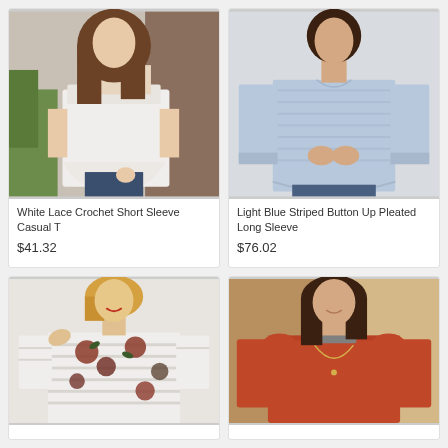[Figure (photo): Woman wearing a white lace crochet short sleeve casual top]
White Lace Crochet Short Sleeve Casual T
$41.32
[Figure (photo): Woman wearing a light blue striped button up pleated long sleeve shirt]
Light Blue Striped Button Up Pleated Long Sleeve
$76.02
[Figure (photo): Woman wearing a floral and striped three-quarter sleeve top]
[Figure (photo): Woman wearing an orange/rust colored long sleeve sweater with necklace]